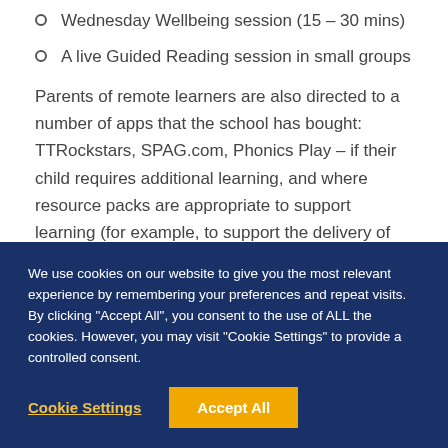Wednesday Wellbeing session (15 – 30 mins)
A live Guided Reading session in small groups
Parents of remote learners are also directed to a number of apps that the school has bought: TTRockstars, SPAG.com, Phonics Play – if their child requires additional learning, and where resource packs are appropriate to support learning (for example, to support the delivery of remote education for our younger pupils in Reception or Year 1) we ensure that parents have access to these.
We use cookies on our website to give you the most relevant experience by remembering your preferences and repeat visits. By clicking "Accept All", you consent to the use of ALL the cookies. However, you may visit "Cookie Settings" to provide a controlled consent.
Cookie Settings
Accept All